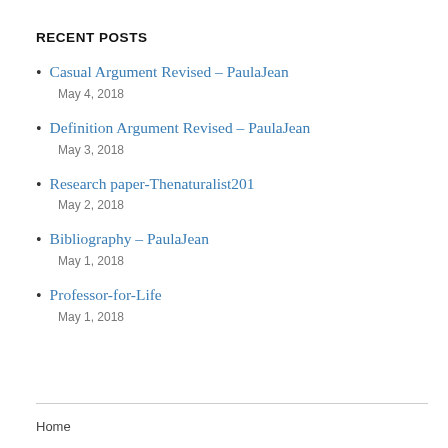RECENT POSTS
Casual Argument Revised – PaulaJean
May 4, 2018
Definition Argument Revised – PaulaJean
May 3, 2018
Research paper-Thenaturalist201
May 2, 2018
Bibliography – PaulaJean
May 1, 2018
Professor-for-Life
May 1, 2018
Home